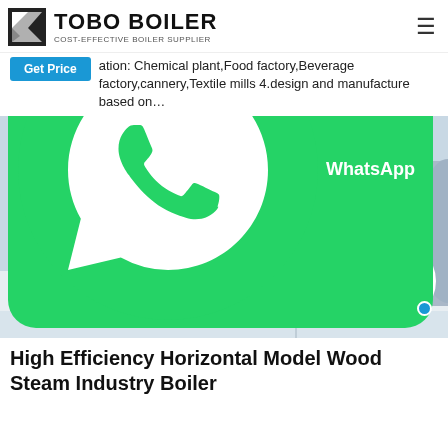TOBO BOILER — COST-EFFECTIVE BOILER SUPPLIER
ation: Chemical plant,Food factory,Beverage factory,cannery,Textile mills 4.design and manufacture based on…
[Figure (photo): Industrial boiler room with large horizontal gas/oil fired steam boilers (Fangkuai brand), blue and yellow piping, white interior. Two large cylindrical boilers in silver/grey with Chinese characters (方快). WhatsApp overlay button (green) in bottom left corner. Customer service avatar (Asian woman) in bottom right corner.]
High Efficiency Horizontal Model Wood Steam Industry Boiler